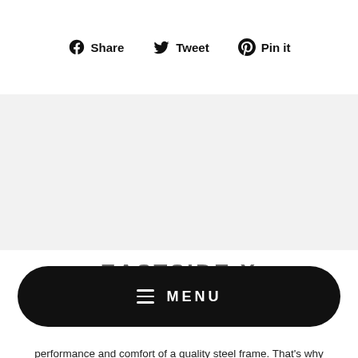Share   Tweet   Pin it
[Figure (other): Gray placeholder area representing an image or content block]
EASTSIDE X
[Figure (other): Black rounded rectangle menu button overlay with hamburger icon and MENU text]
performance and comfort of a quality steel frame. That's why